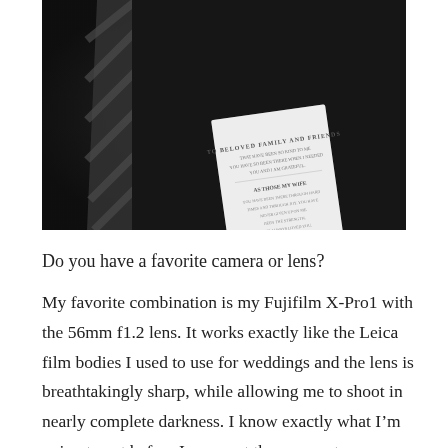[Figure (photo): Black and white photograph of a man in a dark suit and striped tie, holding or having tucked into his chest pocket a white folded card/letter with text on it. The image is cropped to show mostly the torso area.]
Do you have a favorite camera or lens?
My favorite combination is my Fujifilm X-Pro1 with the 56mm f1.2 lens. It works exactly like the Leica film bodies I used to use for weddings and the lens is breathtakingly sharp, while allowing me to shoot in nearly complete darkness. I know exactly what I’m going to get before I even put the camera to